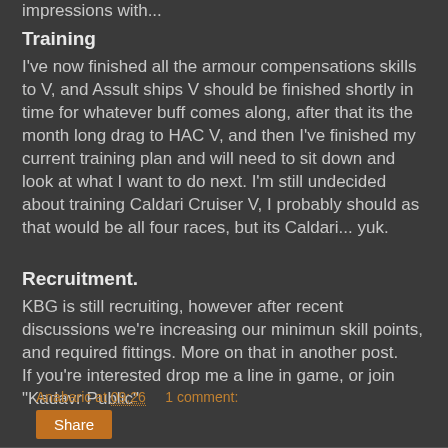Training
I've now finished all the armour compensations skills to V, and Assult ships V should be finished shortly in time for whatever buff comes along, after that its the month long drag to HAC V, and then I've finished my current training plan and will need to sit down and look at what I want to do next. I'm still undecided about training Caldari Cruiser V, I probably should as that would be all four races, but its Caldari... yuk.
Recruitment.
KBG is still recruiting, however after recent discussions we're increasing our minimun skill points, and required fittings. More on that in another post.
If you're interested drop me a line in game, or join "Kadavr Public"
Anabaric at 09:26     1 comment:
Share